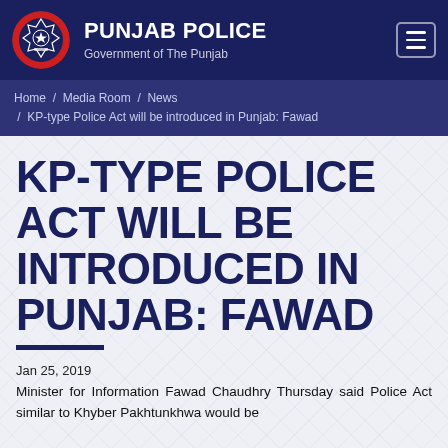PUNJAB POLICE — Government of The Punjab
Home / Media Room / News / KP-type Police Act will be introduced in Punjab: Fawad
KP-TYPE POLICE ACT WILL BE INTRODUCED IN PUNJAB: FAWAD
Jan 25, 2019
Minister for Information Fawad Chaudhry Thursday said Police Act similar to Khyber Pakhtunkhwa would be